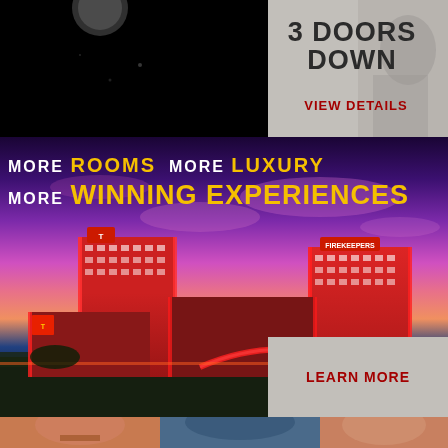[Figure (photo): Dark/black background with faint circular light shape at top, appears to be a concert or performer photo]
[Figure (photo): Gray background with faded performer image, showing 3 Doors Down concert promotion]
3 DOORS DOWN
VIEW DETAILS
[Figure (photo): Hotel/casino complex aerial photo at dusk with colorful sky, showing large red and white hotel towers]
MORE ROOMS MORE LUXURY MORE WINNING EXPERIENCES
LEARN MORE
[Figure (photo): Three portrait photos of performers/celebrities at the bottom of the page]